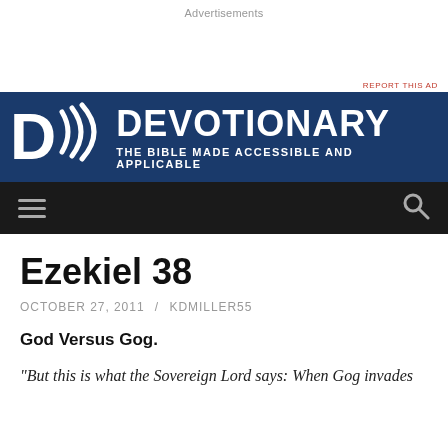Advertisements
REPORT THIS AD
[Figure (logo): Devotionary logo banner — dark blue background with large D and sound wave arcs, text DEVOTIONARY and THE BIBLE MADE ACCESSIBLE AND APPLICABLE]
[Figure (screenshot): Dark navigation bar with hamburger menu icon on left and search icon on right]
Ezekiel 38
OCTOBER 27, 2011 / KDMILLER55
God Versus Gog.
"But this is what the Sovereign Lord says: When Gog invades